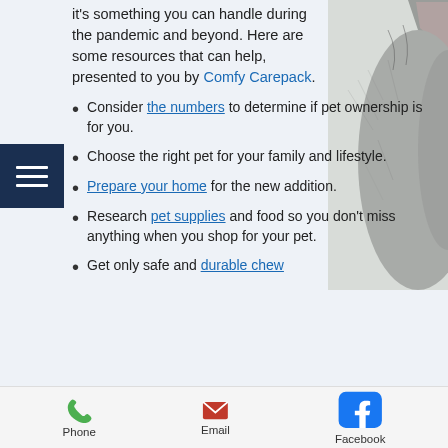it's something you can handle during the pandemic and beyond. Here are some resources that can help, presented to you by Comfy Carepack.
Consider the numbers to determine if pet ownership is for you.
Choose the right pet for your family and lifestyle.
Prepare your home for the new addition.
Research pet supplies and food so you don't miss anything when you shop for your pet.
Get only safe and durable chew...
[Figure (photo): Close-up photo of a gray tabby cat on the right side of the page]
Phone  Email  Facebook